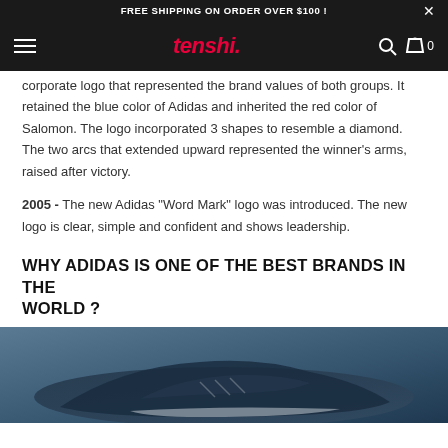FREE SHIPPING ON ORDER OVER $100 !
tenshi. [navigation bar with hamburger menu, search icon, bag icon, 0]
corporate logo that represented the brand values of both groups. It retained the blue color of Adidas and inherited the red color of Salomon. The logo incorporated 3 shapes to resemble a diamond. The two arcs that extended upward represented the winner's arms, raised after victory.
2005 - The new Adidas "Word Mark" logo was introduced. The new logo is clear, simple and confident and shows leadership.
WHY ADIDAS IS ONE OF THE BEST BRANDS IN THE WORLD ?
[Figure (photo): Close-up photo of a dark blue Adidas sneaker/shoe against a blue-grey background]